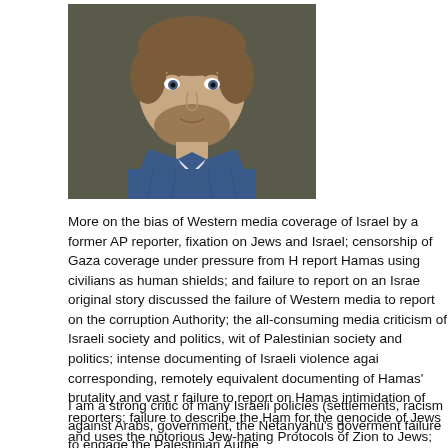[Figure (photo): Headshot photo of a man with short brown hair and beard wearing a blue denim shirt, against a dark background.]
More on the bias of Western media coverage of Israel by a former AP reporter, fixation on Jews and Israel; censorship of Gaza coverage under pressure from H report Hamas using civilians as human shields; and failure to report on an Israe original story discussed the failure of Western media to report on the corruption Authority; the all-consuming media criticism of Israeli society and politics, wit of Palestinian society and politics; intense documenting of Israeli violence agai corresponding, remotely equivalent documenting of Hamas' brutality and vast r failure to report on Hamas intimidation of reporters; failure to describe the Ham for the genocide of Jews and uses the notorious Jew-hating Protocols of Zion to Jews; failure to report on Israeli peace proposals prior to the Netanyahu govern on the tiny size (both geographically and demographically) of Israel in contrast world; failure to connect Hamas to other extreme, exclusivist, violent Muslim m (e.g. al Qaeda, ISIS, Hezbollah, Taliban); and the overall equivalence of Israel a Palestinians as sympathetic victims.
I am a strong critic of many Israeli policies (settlements, racism against Arabs, government, the Netanyahu's goverment failure to engage the Palestinian Authe